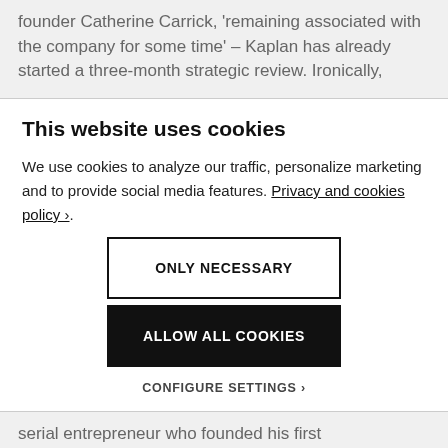founder Catherine Carrick, 'remaining associated with the company for some time' – Kaplan has already started a three-month strategic review. Ironically,
This website uses cookies
We use cookies to analyze our traffic, personalize marketing and to provide social media features. Privacy and cookies policy ›.
ONLY NECESSARY
ALLOW ALL COOKIES
CONFIGURE SETTINGS ›
serial entrepreneur who founded his first